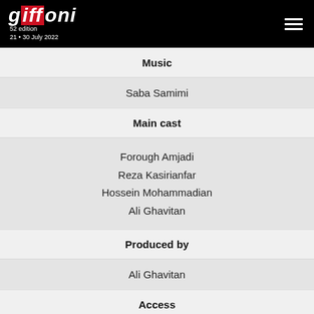GIFFONI 52 edition 21 • 30 July 2022
Music
Saba Samimi
Main cast
Forough Amjadi
Reza Kasirianfar
Hossein Mohammadian
Ali Ghavitan
Produced by
Ali Ghavitan
Access